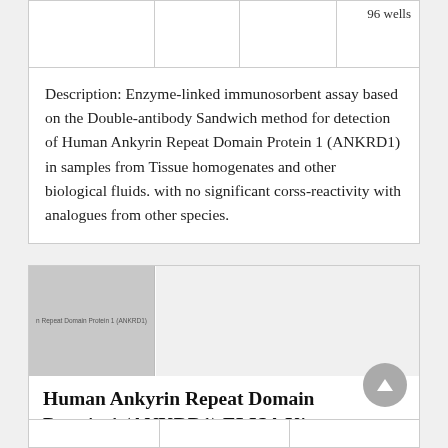|  |  |  | 96 wells |
Description: Enzyme-linked immunosorbent assay based on the Double-antibody Sandwich method for detection of Human Ankyrin Repeat Domain Protein 1 (ANKRD1) in samples from Tissue homogenates and other biological fluids. with no significant corss-reactivity with analogues from other species.
[Figure (photo): Product image placeholder for Human Ankyrin Repeat Domain Protein 1 (ANKRD1) ELISA Kit showing a grey rectangle with text label]
Human Ankyrin Repeat Domain Protein 1 (ANKRD1) ELISA Kit
|  |  |  |